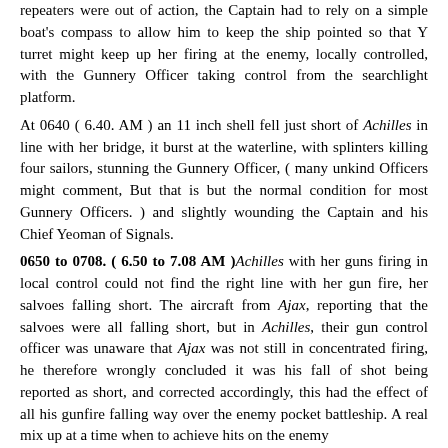repeaters were out of action, the Captain had to rely on a simple boat's compass to allow him to keep the ship pointed so that Y turret might keep up her firing at the enemy, locally controlled, with the Gunnery Officer taking control from the searchlight platform. At 0640 ( 6.40. AM ) an 11 inch shell fell just short of Achilles in line with her bridge, it burst at the waterline, with splinters killing four sailors, stunning the Gunnery Officer, ( many unkind Officers might comment, But that is but the normal condition for most Gunnery Officers. ) and slightly wounding the Captain and his Chief Yeoman of Signals. 0650 to 0708. ( 6.50 to 7.08 AM ) Achilles with her guns firing in local control could not find the right line with her gun fire, her salvoes falling short. The aircraft from Ajax, reporting that the salvoes were all falling short, but in Achilles, their gun control officer was unaware that Ajax was not still in concentrated firing, he therefore wrongly concluded it was his fall of shot being reported as short, and corrected accordingly, this had the effect of all his gunfire falling way over the enemy pocket battleship. A real mix up at a time when to achieve hits on the enemy